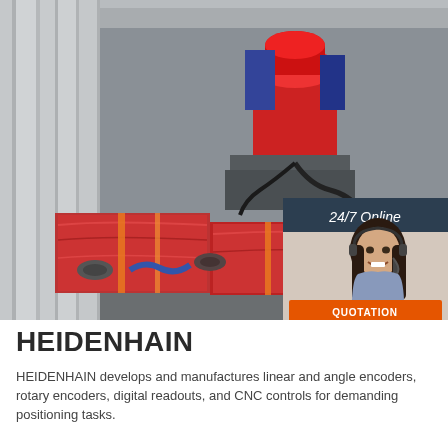[Figure (photo): Industrial machinery wrapped in red packaging inside a shipping container. A 24/7 Online chat widget overlay appears in the top-right corner with a customer service representative photo, 'Click here for free chat!' text, and an orange QUOTATION button.]
HEIDENHAIN
HEIDENHAIN develops and manufactures linear and angle encoders, rotary encoders, digital readouts, and CNC controls for demanding positioning tasks.